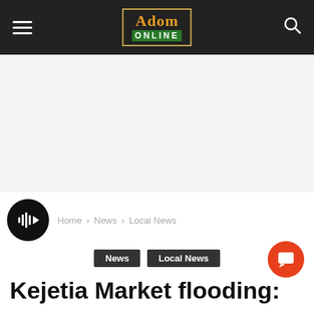Adom Online
[Figure (other): White blank advertisement area]
[Figure (other): Black circular play button with audio/podcast waveform icon]
Home › News › Local News
News   Local News
Kejetia Market flooding: